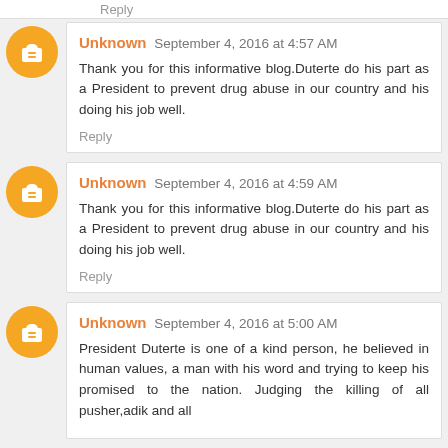Reply
Unknown September 4, 2016 at 4:57 AM
Thank you for this informative blog.Duterte do his part as a President to prevent drug abuse in our country and his doing his job well.
Reply
Unknown September 4, 2016 at 4:59 AM
Thank you for this informative blog.Duterte do his part as a President to prevent drug abuse in our country and his doing his job well.
Reply
Unknown September 4, 2016 at 5:00 AM
President Duterte is one of a kind person, he believed in human values, a man with his word and trying to keep his promised to the nation. Judging the killing of all pusher,adik and all